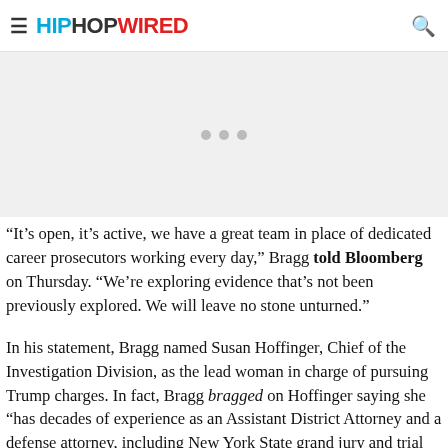HIPHOPWIRED
[Figure (other): Advertisement placeholder area with three gray dots]
“It’s open, it’s active, we have a great team in place of dedicated career prosecutors working every day,” Bragg told Bloomberg on Thursday. “We’re exploring evidence that’s not been previously explored. We will leave no stone unturned.”
In his statement, Bragg named Susan Hoffinger, Chief of the Investigation Division, as the lead woman in charge of pursuing Trump charges. In fact, Bragg bragged on Hoffinger saying she “has decades of experience as an Assistant District Attorney and a defense attorney, including New York State grand jury and trial experience, which are crucial for this investigation.”